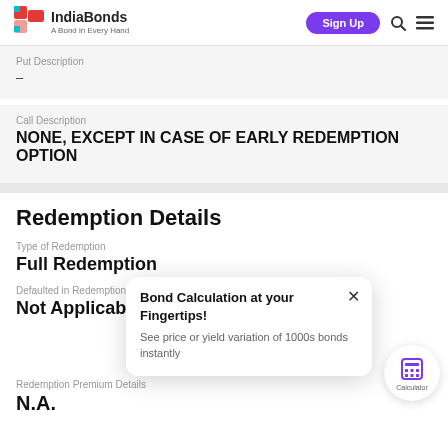IndiaBonds — A Bond in Every Hand
Put Description
–
Call Description
NONE, EXCEPT IN CASE OF EARLY REDEMPTION OPTION
Redemption Details
Type of Redemption
Full Redemption
Defaulted in Redemption
Not Applicable
Redemption Premium Details
N.A.
Bond Calculation at your Fingertips!
See price or yield variation of 1000s bonds instantly